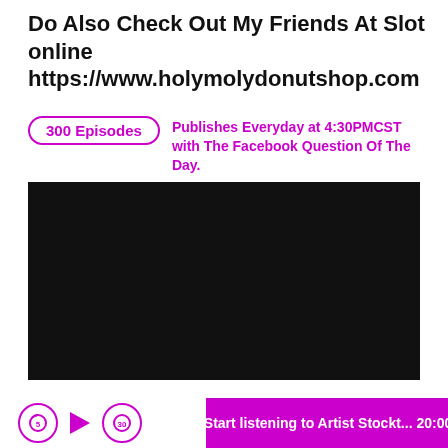Do Also Check Out My Friends At Slot online https://www.holymolydonutshop.com
300 Episodes
Publishes Everyday at 4:30PMCST with The Facebook Question Of The Day.
[Figure (screenshot): Black video player screen]
Start listening to Artist Stockt... 20:00